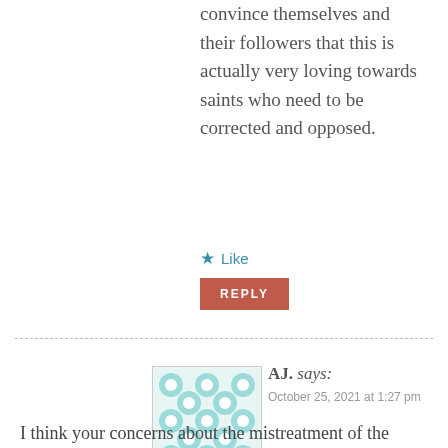convince themselves and their followers that this is actually very loving towards saints who need to be corrected and opposed.
Like
REPLY
[Figure (illustration): Avatar image with teal and white geometric/floral tile pattern inside a light beige border]
AJ. says:
October 25, 2021 at 1:27 pm
I think your concerns about the mistreatment of the vulnerable is obviously valid and we need to see where we as individual Christians, Churches, and